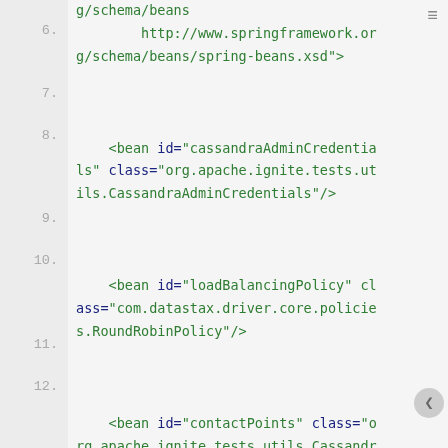[Figure (screenshot): Code editor screenshot showing XML Spring bean configuration lines 6-15 with line numbers on the left, green XML tags and dark blue/purple attribute names.]